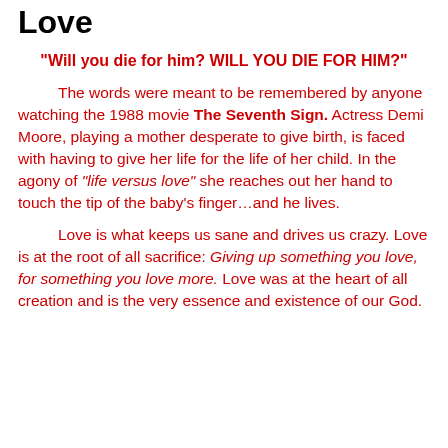Love
“Will you die for him? WILL YOU DIE FOR HIM?”
The words were meant to be remembered by anyone watching the 1988 movie The Seventh Sign. Actress Demi Moore, playing a mother desperate to give birth, is faced with having to give her life for the life of her child. In the agony of “life versus love” she reaches out her hand to touch the tip of the baby’s finger…and he lives.
Love is what keeps us sane and drives us crazy. Love is at the root of all sacrifice: Giving up something you love, for something you love more. Love was at the heart of all creation and is the very essence and existence of our God.